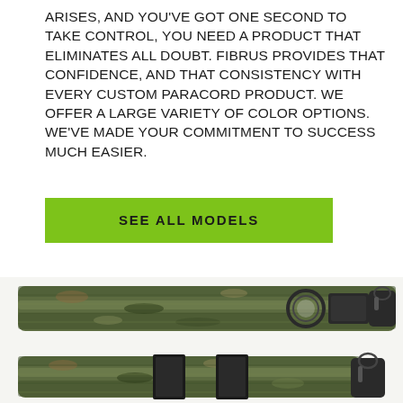ARISES, AND YOU'VE GOT ONE SECOND TO TAKE CONTROL, YOU NEED A PRODUCT THAT ELIMINATES ALL DOUBT. FIBRUS PROVIDES THAT CONFIDENCE, AND THAT CONSISTENCY WITH EVERY CUSTOM PARACORD PRODUCT. WE OFFER A LARGE VARIETY OF COLOR OPTIONS. WE'VE MADE YOUR COMMITMENT TO SUCCESS MUCH EASIER.
SEE ALL MODELS
[Figure (photo): Close-up photo of camouflage-patterned paracord products with black metal ring connectors, black snap hooks, and black velcro/fabric attachments.]